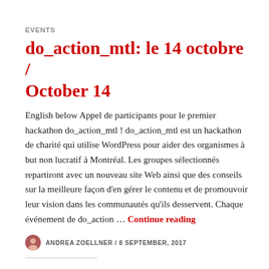EVENTS
do_action_mtl: le 14 octobre / October 14
English below Appel de participants pour le premier hackathon do_action_mtl ! do_action_mtl est un hackathon de charité qui utilise WordPress pour aider des organismes à but non lucratif à Montréal. Les groupes sélectionnés repartiront avec un nouveau site Web ainsi que des conseils sur la meilleure façon d'en gérer le contenu et de promouvoir leur vision dans les communautés qu'ils desservent. Chaque événement de do_action … Continue reading
ANDREA ZOELLNER / 8 SEPTEMBER, 2017